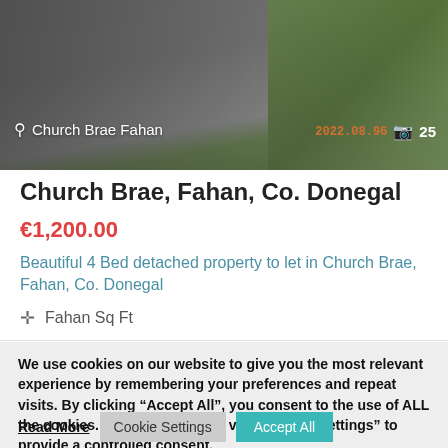[Figure (photo): Outdoor photo of a driveway/road area with grass on the right side. Location label 'Church Brae Fahan' shown bottom-left with pin icon. Timestamp '2022.08.96' and camera icon with count '25' shown bottom-right.]
Church Brae, Fahan, Co. Donegal
€1,200.00
Beautiful 4 Bed detached property to let in Church Brae, Fahan, Co. Donegal
✛  Fahan Sq Ft
We use cookies on our website to give you the most relevant experience by remembering your preferences and repeat visits. By clicking "Accept All", you consent to the use of ALL the cookies. However, you may visit "Cookie Settings" to provide a controlled consent.
Read More
Cookie Settings
Accept All